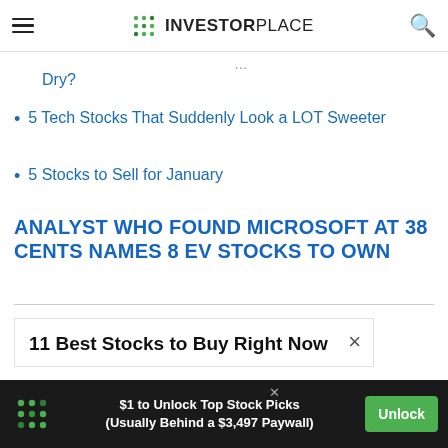INVESTORPLACE
...going Dry?
5 Tech Stocks That Suddenly Look a LOT Sweeter
5 Stocks to Sell for January
ANALYST WHO FOUND MICROSOFT AT 38 CENTS NAMES 8 EV STOCKS TO OWN
11 Best Stocks to Buy Right Now
[Figure (other): Advertisement banner: $1 to Unlock Top Stock Picks (Usually Behind a $3,497 Paywall) with Unlock button]